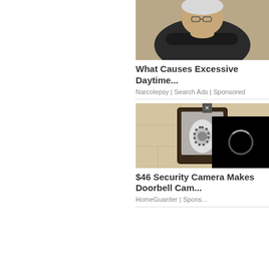[Figure (photo): Elderly man sleeping in a chair with arms crossed, wearing glasses and a dark sweater]
What Causes Excessive Daytime...
Narcolepsy | Search Ads | Sponsored
[Figure (photo): Security camera mounted in a decorative outdoor wall lantern fixture]
$46 Security Camera Makes Doorbell Cam...
HomeGuarder | Spons...